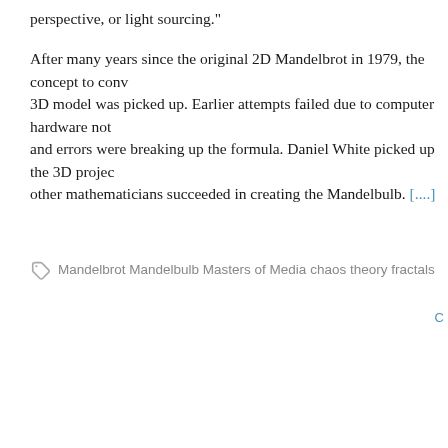perspective, or light sourcing."
After many years since the original 2D Mandelbrot in 1979, the concept to convert to a 3D model was picked up. Earlier attempts failed due to computer hardware not being ready and errors were breaking up the formula. Daniel White picked up the 3D project and with other mathematicians succeeded in creating the Mandelbulb. [....]
Mandelbrot Mandelbulb Masters of Media chaos theory fractals